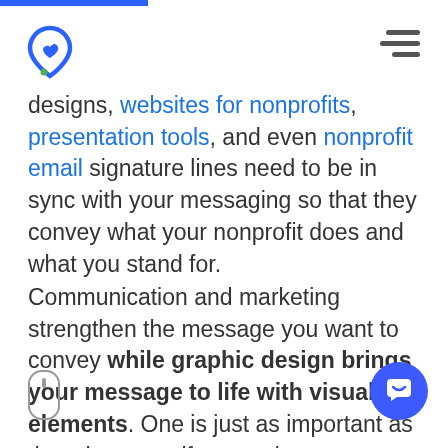designs, websites for nonprofits, presentation tools, and even nonprofit email signature lines need to be in sync with your messaging so that they convey what your nonprofit does and what you stand for.
Communication and marketing strengthen the message you want to convey while graphic design brings your message to life with visual elements. One is just as important as the other even if we tend to see graphic design as an expensive luxury. Strong graphic design elements help nonprofits create a lasting